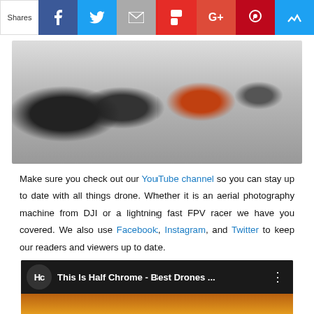[Figure (screenshot): Social sharing bar with Shares label followed by Facebook (blue), Twitter (light blue), Email (gray), Flipboard (red), Google+ (red-orange), Pinterest (red), and Crown (blue) icon buttons]
[Figure (photo): Photo of multiple drones including dark DJI drones on the left and an orange/red drone on the right, against a white/gray background]
Make sure you check out our YouTube channel so you can stay up to date with all things drone. Whether it is an aerial photography machine from DJI or a lightning fast FPV racer we have you covered. We also use Facebook, Instagram, and Twitter to keep our readers and viewers up to date.
[Figure (screenshot): YouTube video embed showing 'This Is Half Chrome - Best Drones ...' with Half Chrome logo, thumbnail showing sunset sky and 'THIS IS' text overlay, with a red play button and blue scroll-to-top button]